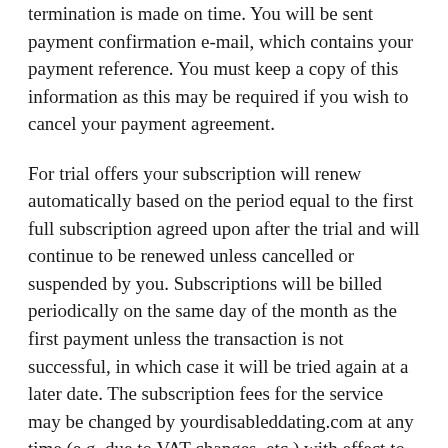termination is made on time. You will be sent payment confirmation e-mail, which contains your payment reference. You must keep a copy of this information as this may be required if you wish to cancel your payment agreement.
For trial offers your subscription will renew automatically based on the period equal to the first full subscription agreed upon after the trial and will continue to be renewed unless cancelled or suspended by you. Subscriptions will be billed periodically on the same day of the month as the first payment unless the transaction is not successful, in which case it will be tried again at a later date. The subscription fees for the service may be changed by yourdisableddating.com at any time (e.g. due to VAT changes, etc.) with effect to